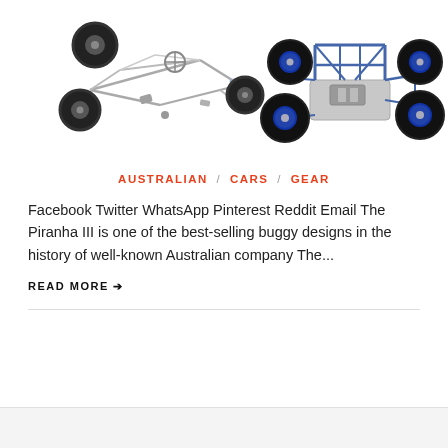[Figure (photo): Two off-road buggy vehicles: one disassembled/exploded view on the left showing a tubular frame with wheels separated, and one assembled blue roll-cage buggy on the right.]
AUSTRALIAN / CARS / GEAR
Facebook Twitter WhatsApp Pinterest Reddit Email The Piranha III is one of the best-selling buggy designs in the history of well-known Australian company The...
READ MORE ➔